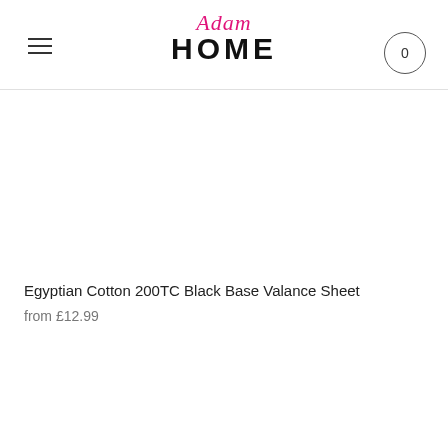Adam HOME — navigation header with logo and cart icon (0)
[Figure (photo): Product image area — Egyptian Cotton 200TC Black Base Valance Sheet (white/blank product image)]
Egyptian Cotton 200TC Black Base Valance Sheet
from £12.99